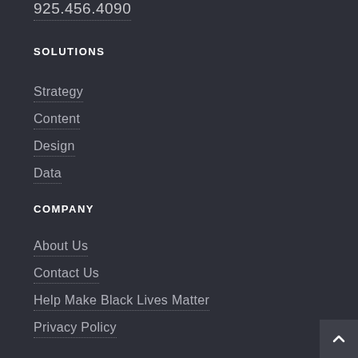925.456.4090
SOLUTIONS
Strategy
Content
Design
Data
COMPANY
About Us
Contact Us
Help Make Black Lives Matter
Privacy Policy
Cookie Policy
CONNECT